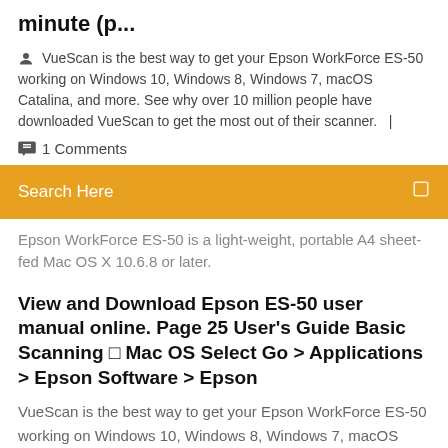minute (p...
VueScan is the best way to get your Epson WorkForce ES-50 working on Windows 10, Windows 8, Windows 7, macOS Catalina, and more. See why over 10 million people have downloaded VueScan to get the most out of their scanner.   |
1 Comments
Search Here
Epson WorkForce ES-50 is a light-weight, portable A4 sheet-fed Mac OS X 10.6.8 or later.
View and Download Epson ES-50 user manual online. Page 25 User's Guide Basic Scanning □ Mac OS Select Go > Applications > Epson Software > Epson
VueScan is the best way to get your Epson WorkForce ES-50 working on Windows 10, Windows 8, Windows 7, macOS Catalina, and more. See why over 10 million people have downloaded VueScan to get the most out of their scanner.